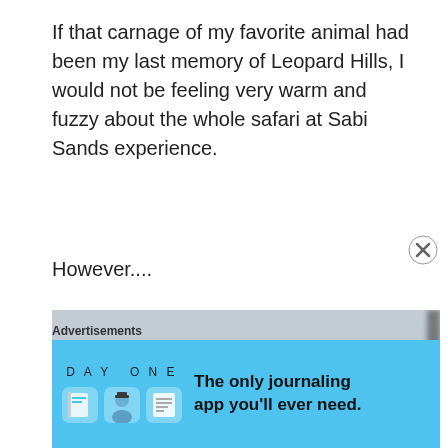If that carnage of my favorite animal had been my last memory of Leopard Hills, I would not be feeling very warm and fuzzy about the whole safari at Sabi Sands experience.
However....
[Figure (photo): Blurry outdoor photograph showing bare tree branches against a gray overcast sky, taken in a bush/savanna setting]
Advertisements
[Figure (screenshot): DAY ONE app advertisement banner on a blue background with app icons and text: The only journaling app you'll ever need.]